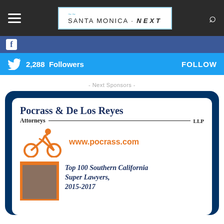Santa Monica NEXT
[Figure (logo): Santa Monica NEXT website header with hamburger menu, logo, and search icon]
[Figure (infographic): Facebook followers bar (blue)]
[Figure (infographic): Twitter bar: 2,288 Followers | FOLLOW]
- Next Sponsors -
[Figure (infographic): Pocrass & De Los Reyes LLP advertisement with cyclist icon, website www.pocrass.com, and Top 100 Southern California Super Lawyers 2015-2017]